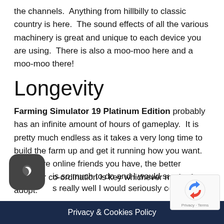the channels.  Anything from hillbilly to classic country is here.  The sound effects of all the various machinery is great and unique to each device you are using.  There is also a moo-moo here and a moo-moo there!
Longevity
Farming Simulator 19 Platinum Edition probably has an infinite amount of hours of gameplay.  It is pretty much endless as it takes a very long time to build the farm up and get it running how you want.  The more online friends you have, the better however co-ordination is key whichever method you adopt.
is so much to do and I would say if you act...really well I would seriously consider going...work or run a real life
Privacy & Cookies Policy